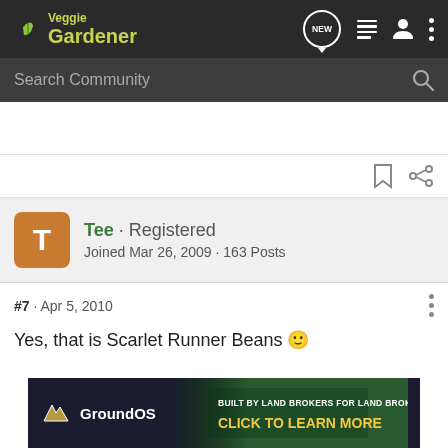Veggie Gardener
Search Community
Tee · Registered
Joined Mar 26, 2009 · 163 Posts
#7 · Apr 5, 2010
Yes, that is Scarlet Runner Beans 🙂
[Figure (screenshot): GroundOS advertisement banner: dark background with GroundOS logo on left, landscape photo on right with text 'BUILT BY LAND BROKERS FOR LAND BROKERS' and 'CLICK TO LEARN MORE' in yellow]